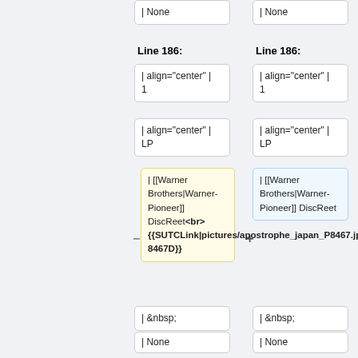| None
| None
Line 186:
Line 186:
| align="center" |
1
| align="center" |
1
| align="center" |
LP
| align="center" |
LP
| [[Warner Brothers|Warner-Pioneer]] DiscReet<br>{{SUTCLink|pictures/apostrophe_japan_P8467.jpg|P-8467D}}
| [[Warner Brothers|Warner-Pioneer]] DiscReet
| &nbsp;
| &nbsp;
| None
| None
Line 194:
Line 194: